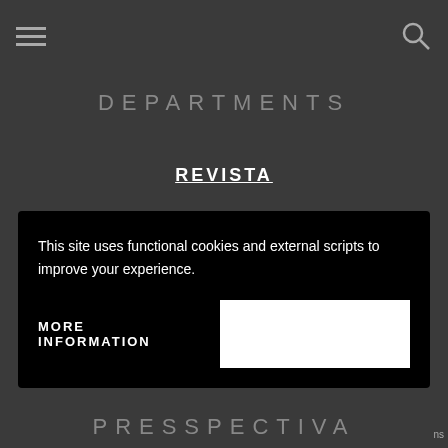☰  🔍
DEPARTMENTS
REVISTA
CAMERA ON CAMPUS
THE SIX-DAY WAR
This site uses functional cookies and external scripts to improve your experience.
MORE INFORMATION
PRESSPECTIVA